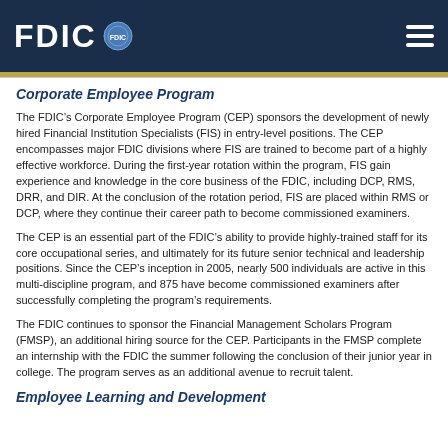FDIC
Corporate Employee Program
The FDIC’s Corporate Employee Program (CEP) sponsors the development of newly hired Financial Institution Specialists (FIS) in entry-level positions. The CEP encompasses major FDIC divisions where FIS are trained to become part of a highly effective workforce. During the first-year rotation within the program, FIS gain experience and knowledge in the core business of the FDIC, including DCP, RMS, DRR, and DIR. At the conclusion of the rotation period, FIS are placed within RMS or DCP, where they continue their career path to become commissioned examiners.
The CEP is an essential part of the FDIC’s ability to provide highly-trained staff for its core occupational series, and ultimately for its future senior technical and leadership positions. Since the CEP’s inception in 2005, nearly 500 individuals are active in this multi-discipline program, and 875 have become commissioned examiners after successfully completing the program’s requirements.
The FDIC continues to sponsor the Financial Management Scholars Program (FMSP), an additional hiring source for the CEP. Participants in the FMSP complete an internship with the FDIC the summer following the conclusion of their junior year in college. The program serves as an additional avenue to recruit talent.
Employee Learning and Development